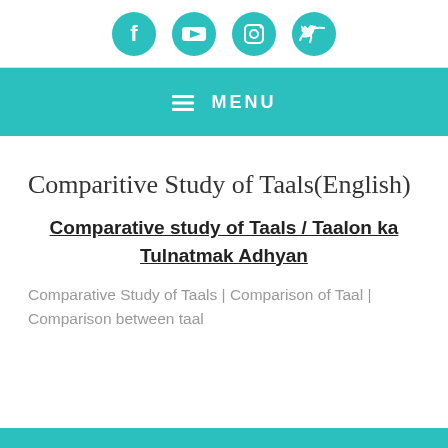[Figure (other): Row of four social media icons (Facebook, YouTube, Instagram, Twitter) in teal circles on white background with border]
☰ MENU
Comparitive Study of Taals(English)
Comparative study of Taals / Taalon ka Tulnatmak Adhyan
Comparative Study of Taals | Comparison of Taal | Comparison between taal